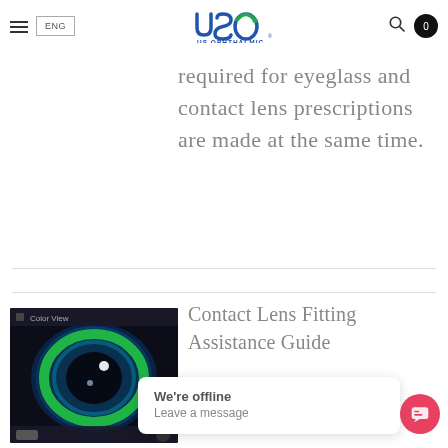ENG | US Ophthalmic | Search | Cart: 0
required for eyeglass and contact lens prescriptions are made at the same time.
Contact Lens Fitting Assistance Guide
Image processing, using
[Figure (photo): Close-up eye image with green/blue slit-lamp fluorescein illumination showing cornea and contact lens fitting, labeled 'Color View']
We're offline
Leave a message